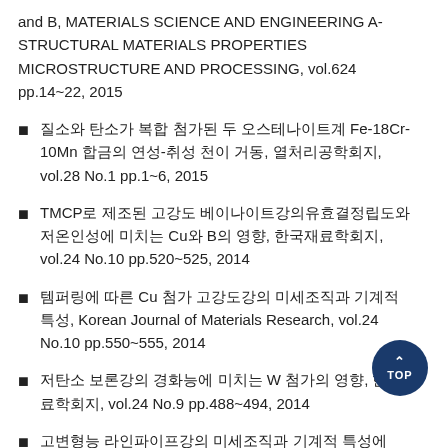and B, MATERIALS SCIENCE AND ENGINEERING A-STRUCTURAL MATERIALS PROPERTIES MICROSTRUCTURE AND PROCESSING, vol.624 pp.14~22, 2015
질소와 탄소가 복합 첨가된 두 오스테나이트계 Fe-18Cr-10Mn 합금의 연성-취성 천이 거동, 열처리공학회지, vol.28 No.1 pp.1~6, 2015
TMCP로 제조된 고강도 베이나이트강의유효결정립도와 저온인성에 미치는 Cu와 B의 영향, 한국재료학회지, vol.24 No.10 pp.520~525, 2014
템퍼링에 따른 Cu 첨가 고강도강의 미세조직과 기계적 특성, Korean Journal of Materials Research, vol.24 No.10 pp.550~555, 2014
저탄소 보론강의 경화능에 미치는 W 첨가의 영향, 한국재료학회지, vol.24 No.9 pp.488~494, 2014
고변형능 라인파이프강의 미세조직과 기계적 특성에 미치는 압연 밀냉각 조건의 영향, 열처리공학회지, vol.27